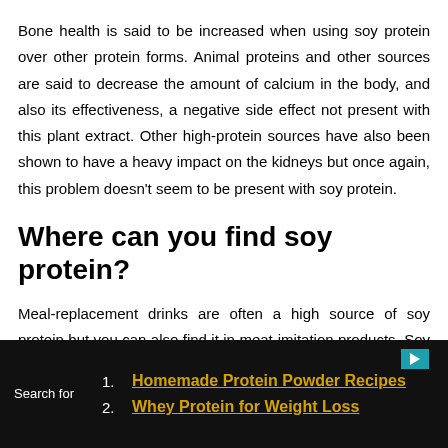Bone health is said to be increased when using soy protein over other protein forms. Animal proteins and other sources are said to decrease the amount of calcium in the body, and also its effectiveness, a negative side effect not present with this plant extract. Other high-protein sources have also been shown to have a heavy impact on the kidneys but once again, this problem doesn't seem to be present with soy protein.
Where can you find soy protein?
Meal-replacement drinks are often a high source of soy protein but you can also find it in meat-imitation products. Soy protein powders, the beans themselves, oil, soy milk and more can be bought formats health food stores.
1. Homemade Protein Powder Recipes
2. Whey Protein for Weight Loss